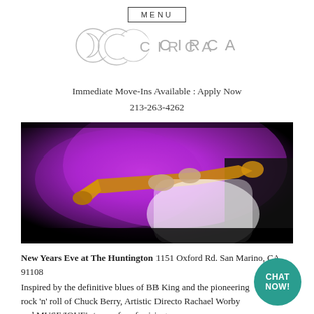MENU
[Figure (logo): Circa logo with stylized crescent C icon and 'CIRCA' text in spaced letters]
Immediate Move-Ins Available : Apply Now
213-263-4262
[Figure (photo): A musician playing a gold/brass trumpet under purple stage lighting, wearing a white shirt]
New Years Eve at The Huntington 1151 Oxford Rd. San Marino, CA 91108
Inspired by the definitive blues of BB King and the pioneering rock 'n' roll of Chuck Berry, Artistic Director Rachael Worby and MUSE/IQUE's team of roof-raising